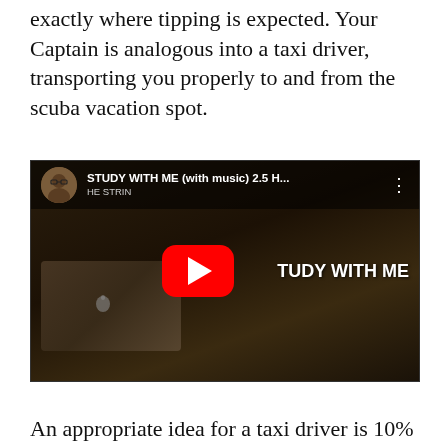exactly where tipping is expected. Your Captain is analogous into a taxi driver, transporting you properly to and from the scuba vacation spot.
[Figure (screenshot): YouTube video thumbnail showing a woman studying at a laptop with glasses, with a red YouTube play button overlay and title 'STUDY WITH ME (with music) 2.5 H...' and text 'TUDY WITH ME' visible.]
An appropriate idea for a taxi driver is 10%